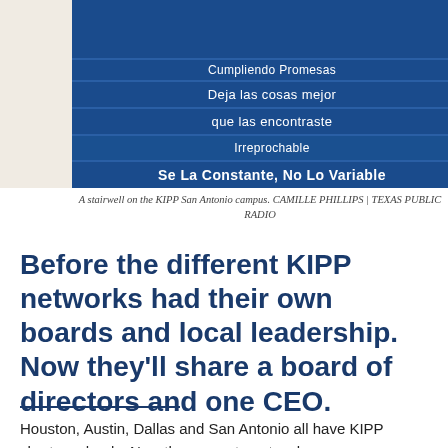[Figure (photo): A stairwell at KIPP San Antonio campus showing blue stairs with Spanish motivational phrases written on each step: 'Cumpliendo Promesas', 'Deja las cosas mejor', 'que las encontraste', 'Irreprochable', 'Se La Constante, No Lo Variable']
A stairwell on the KIPP San Antonio campus. CAMILLE PHILLIPS | TEXAS PUBLIC RADIO
Before the different KIPP networks had their own boards and local leadership. Now they'll share a board of directors and one CEO.
Houston, Austin, Dallas and San Antonio all have KIPP charter schools. Now the separate networks